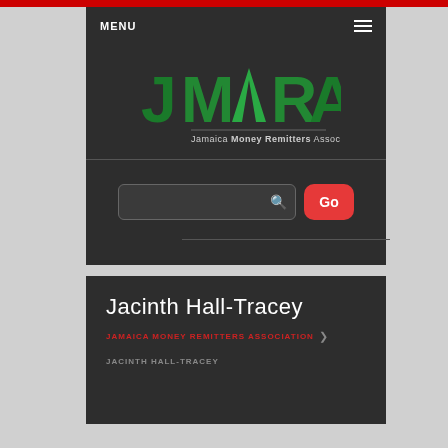[Figure (screenshot): JMRA (Jamaica Money Remitters Association) website screenshot showing navigation menu bar with MENU text and hamburger icon, JMRA logo with green stylized letters and tagline 'Jamaica Money Remitters Association', a search bar with Go button, followed by a profile card for Jacinth Hall-Tracey with organization breadcrumb.]
MENU
Jacinth Hall-Tracey
JAMAICA MONEY REMITTERS ASSOCIATION
JACINTH HALL-TRACEY